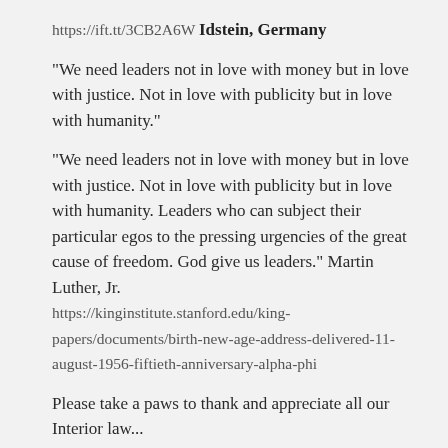https://ift.tt/3CB2A6W Idstein, Germany
“We need leaders not in love with money but in love with justice. Not in love with publicity but in love with humanity.”
“We need leaders not in love with money but in love with justice. Not in love with publicity but in love with humanity. Leaders who can subject their particular egos to the pressing urgencies of the great cause of freedom. God give us leaders.” Martin Luther, Jr.
https://kinginstitute.stanford.edu/king-papers/documents/birth-new-age-address-delivered-11-august-1956-fiftieth-anniversary-alpha-phi
Please take a paws to thank and appreciate all our Interior law...
Please take a paws to thank and appreciate all our Interior law enforcement personnel (even the